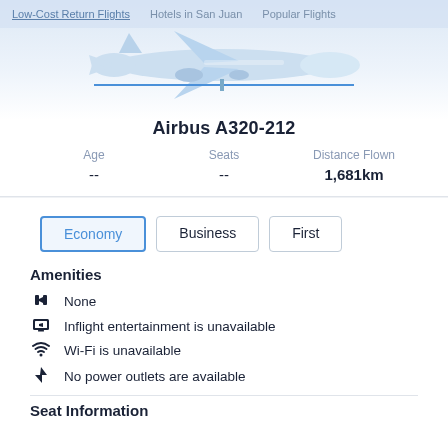Low-Cost Return Flights   Hotels in San Juan   Popular Flights
[Figure (illustration): Light blue illustration of a commercial airplane (Airbus) viewed from slightly above, with a blue horizontal line beneath it]
Airbus A320-212
| Age | Seats | Distance Flown |
| --- | --- | --- |
| -- | -- | 1,681km |
Economy  Business  First
Amenities
None
Inflight entertainment is unavailable
Wi-Fi is unavailable
No power outlets are available
Seat Information